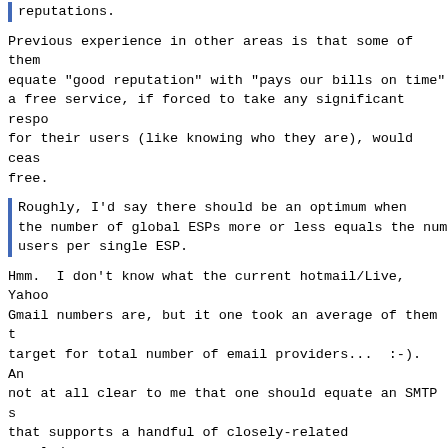reputations.
Previous experience in other areas is that some of them equate "good reputation" with "pays our bills on time" a free service, if forced to take any significant respo for their users (like knowing who they are), would ceas free.
Roughly, I'd say there should be an optimum when the number of global ESPs more or less equals the num users per single ESP.
Hmm.  I don't know what the current hotmail/Live, Yahoo Gmail numbers are, but it one took an average of them t target for total number of email providers...  :-).  An not at all clear to me that one should equate an SMTP s that supports a handful of closely-related people/accou small enterprise should be equated with an ESP for all
As with the DNS, there is a huge administrative and policy-responsibility difference between a zone/registr operator or administrator who maintains a domain in whi substantially all of the records are delegated to entit which they have little control or responsibility other through registration contracts and a zone/registry oper serves a single enterprise (even if there are delegatio departments or other entities within that enterprise). cases, the same DNS protocols are used, just as the sam protocol is used in ours.  Another similarity is that t